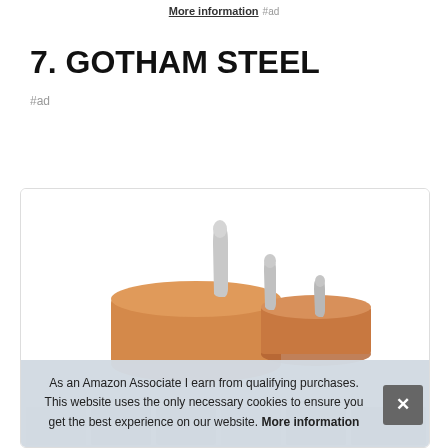More information #ad
7. GOTHAM STEEL
#ad
[Figure (photo): Product card showing Gotham Steel cookware (pans/pots with metallic handles) with a cookie/affiliate disclaimer banner overlay and a close button.]